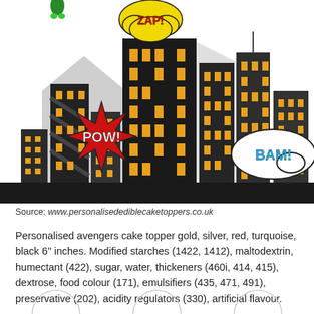[Figure (photo): Superhero-themed cake topper decoration showing a dark cartoon cityscape with comic-book action words (ZAP, POW, BAM) and a small superhero figure flying above the buildings.]
Source: www.personalisedediblecaketoppers.co.uk
Personalised avengers cake topper gold, silver, red, turquoise, black 6'' inches. Modified starches (1422, 1412), maltodextrin, humectant (422), sugar, water, thickeners (460i, 414, 415), dextrose, food colour (171), emulsifiers (435, 471, 491), preservative (202), acidity regulators (330), artificial flavour.